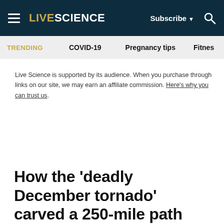LIVE SCIENCE | Subscribe | Search
TRENDING  COVID-19  Pregnancy tips  Fitnes
Live Science is supported by its audience. When you purchase through links on our site, we may earn an affiliate commission. Here's why you can trust us.
How the 'deadly December tornado' carved a 250-mile path